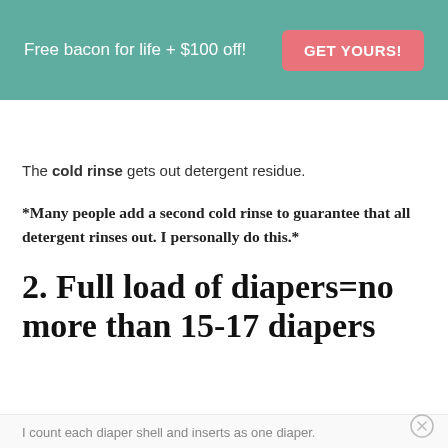[Figure (other): Promotional banner with teal background. Text: 'Free bacon for life + $100 off!' with a pink button reading 'GET YOURS!']
The cold rinse gets out detergent residue.
*Many people add a second cold rinse to guarantee that all detergent rinses out. I personally do this.*
2. Full load of diapers=no more than 15-17 diapers
I count each diaper shell and inserts as one diaper.